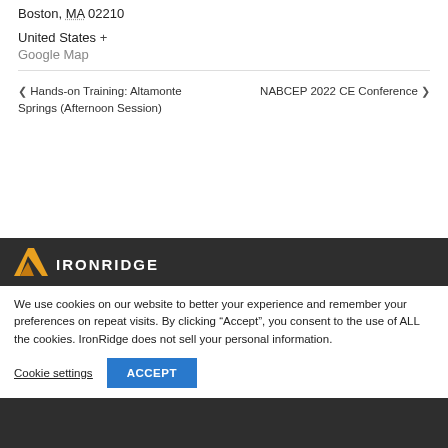Boston, MA 02210
United States +
Google Map
< Hands-on Training: Altamonte Springs (Afternoon Session)
NABCEP 2022 CE Conference >
[Figure (logo): IronRidge logo with orange/yellow chevron icon and white IRONRIDGE text on dark background]
We use cookies on our website to better your experience and remember your preferences on repeat visits. By clicking “Accept”, you consent to the use of ALL the cookies. IronRidge does not sell your personal information.
Cookie settings    ACCEPT